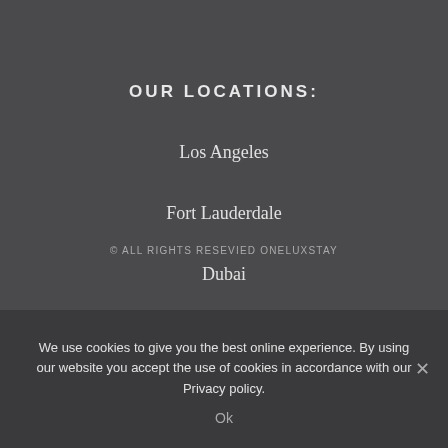OUR LOCATIONS:
Los Angeles
Fort Lauderdale
Dubai
© ALL RIGHTS RESEVIED ONELUXSTAY
We use cookies to give you the best online experience. By using our website you accept the use of cookies in accordance with our Privacy policy.
Ok